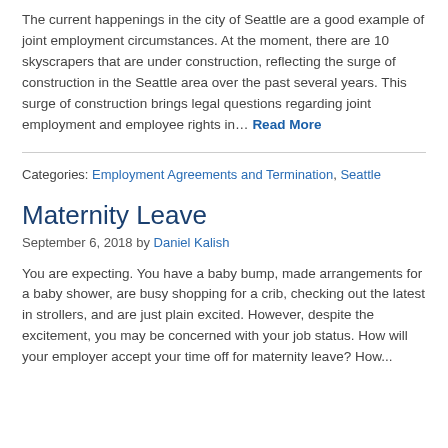The current happenings in the city of Seattle are a good example of joint employment circumstances. At the moment, there are 10 skyscrapers that are under construction, reflecting the surge of construction in the Seattle area over the past several years. This surge of construction brings legal questions regarding joint employment and employee rights in… Read More
Categories: Employment Agreements and Termination, Seattle
Maternity Leave
September 6, 2018 by Daniel Kalish
You are expecting. You have a baby bump, made arrangements for a baby shower, are busy shopping for a crib, checking out the latest in strollers, and are just plain excited. However, despite the excitement, you may be concerned with your job status. How will your employer accept your time off for maternity leave? How...